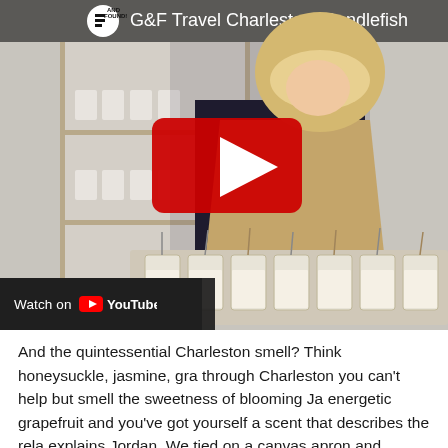[Figure (screenshot): YouTube video thumbnail showing a woman in a tan apron holding a tray of candles in jars with wicks, shelves of white candles in background. Video title: 'G&F Travel Charleston: Candlefish'. YouTube play button overlay. 'Watch on YouTube' bar at bottom left.]
And the quintessential Charleston smell? Think honeysuckle, jasmine, gra through Charleston you can't help but smell the sweetness of blooming Ja energetic grapefruit and you've got yourself a scent that describes the rela explains Jordan. We tied on a canvas apron and picked through the apoth behind-the-scenes video at one of Charleston's most beautiful and inspi